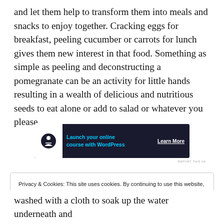and let them help to transform them into meals and snacks to enjoy together. Cracking eggs for breakfast, peeling cucumber or carrots for lunch gives them new interest in that food. Something as simple as peeling and deconstructing a pomegranate can be an activity for little hands resulting in a wealth of delicious and nutritious seeds to eat alone or add to salad or whatever you please.
[Figure (other): Advertisement banner: dark navy background with white circular icon showing a person meditating, teal text 'Launch your online course with WordPress', white 'Learn More' button with underline]
REPORT THIS AD
Privacy & Cookies: This site uses cookies. By continuing to use this website, you agree to their use.
To find out more, including how to control cookies, see here: Cookie Policy
Close and accept
washed with a cloth to soak up the water underneath and